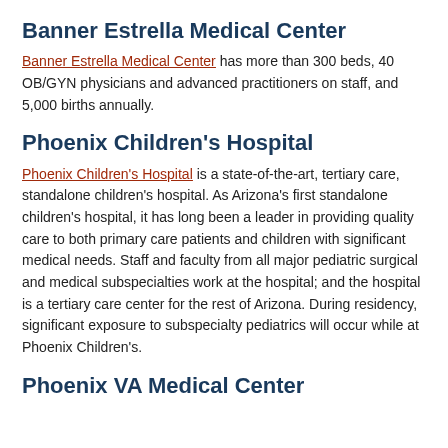Banner Estrella Medical Center
Banner Estrella Medical Center has more than 300 beds, 40 OB/GYN physicians and advanced practitioners on staff, and 5,000 births annually.
Phoenix Children's Hospital
Phoenix Children's Hospital is a state-of-the-art, tertiary care, standalone children’s hospital. As Arizona’s first standalone children’s hospital, it has long been a leader in providing quality care to both primary care patients and children with significant medical needs. Staff and faculty from all major pediatric surgical and medical subspecialties work at the hospital; and the hospital is a tertiary care center for the rest of Arizona. During residency, significant exposure to subspecialty pediatrics will occur while at Phoenix Children’s.
Phoenix VA Medical Center